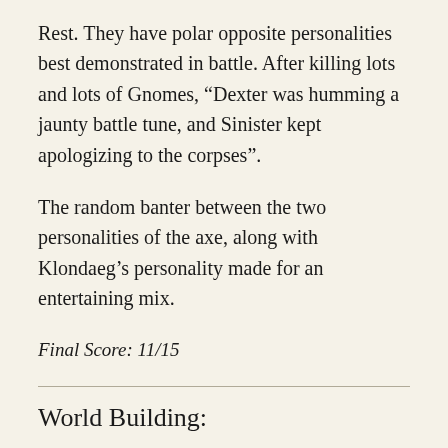Rest. They have polar opposite personalities best demonstrated in battle. After killing lots and lots of Gnomes, “Dexter was humming a jaunty battle tune, and Sinister kept apologizing to the corpses”.
The random banter between the two personalities of the axe, along with Klondaeg’s personality made for an entertaining mix.
Final Score: 11/15
World Building: